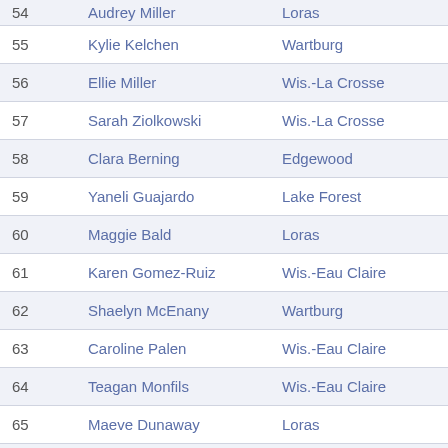| Place | Name | School | Time |
| --- | --- | --- | --- |
| 54 | Audrey Miller | Loras | 18:56.89 |
| 55 | Kylie Kelchen | Wartburg | 18:56.55 |
| 56 | Ellie Miller | Wis.-La Crosse | 18:57.36 |
| 57 | Sarah Ziolkowski | Wis.-La Crosse | 18:57.96 |
| 58 | Clara Berning | Edgewood | 19:04.65 |
| 59 | Yaneli Guajardo | Lake Forest | 19:08.70 |
| 60 | Maggie Bald | Loras | 19:08.87 |
| 61 | Karen Gomez-Ruiz | Wis.-Eau Claire | 19:09.66 |
| 62 | Shaelyn McEnany | Wartburg | 19:11.70 |
| 63 | Caroline Palen | Wis.-Eau Claire | 19:11.74 |
| 64 | Teagan Monfils | Wis.-Eau Claire | 19:13.38 |
| 65 | Maeve Dunaway | Loras | 19:13.88 |
| 66 | Janelle Baeskens | Wartburg | 19:15.47 |
| 67 | Katie Faris | Wis.-Eau Claire | 19:22.03 |